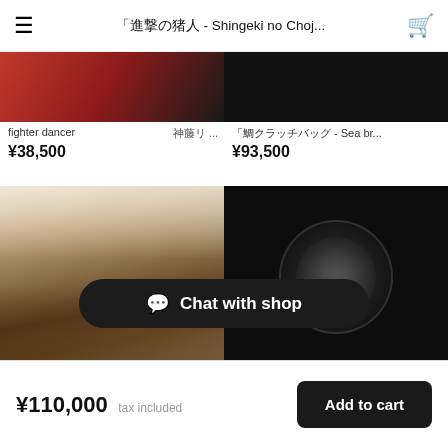「進撃の猪人 - Shingeki no Choj...
[Figure (photo): Partially visible artwork showing red and dark tones - fighter dancer]
fighter dancer　神藤リ...
¥38,500
[Figure (photo): Partially visible dark artwork - Sea bream clutch bag]
「鯛クラッチバッグ - Sea br...
¥93,500
[Figure (photo): Painting of Buddha face surrounded by white flower motifs on earthy tones - 觸II Shoku]
「觸Ⅱ - Shoku...
¥110,000
[Figure (photo): White coral/branch sculptural brooch on dark background]
おくだみ...
¥133,000
Chat with shop
¥110,000 tax included　Add to cart